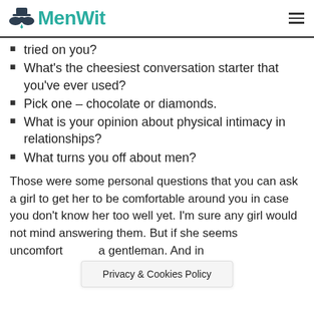MenWit
tried on you?
What's the cheesiest conversation starter that you've ever used?
Pick one – chocolate or diamonds.
What is your opinion about physical intimacy in relationships?
What turns you off about men?
Those were some personal questions that you can ask a girl to get her to be comfortable around you in case you don't know her too well yet. I'm sure any girl would not mind answering them. But if she seems uncomfortable, be a gentleman. And in...